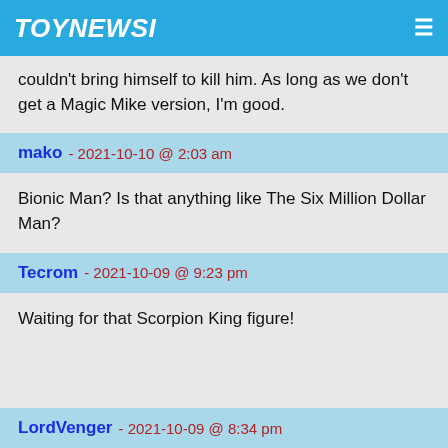TOYNEWSI
couldn't bring himself to kill him. As long as we don't get a Magic Mike version, I'm good.
mako - 2021-10-10 @ 2:03 am
Bionic Man? Is that anything like The Six Million Dollar Man?
Tecrom - 2021-10-09 @ 9:23 pm
Waiting for that Scorpion King figure!
LordVenger - 2021-10-09 @ 8:34 pm